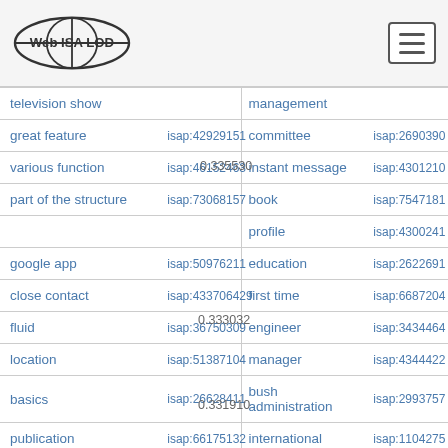Web ISA LOD
| concept | id | concept | id |
| --- | --- | --- | --- |
| television show |  | management |  |
| great feature | isap:42929151 | committee | isap:2690390 |
| various function | isap:46152463 | instant message | isap:4301210 |
| part of the structure | isap:73068157 | book | isap:7547181 |
|  |  | profile | isap:4300241 |
| google app | isap:50976211 | education | isap:2622691 |
| close contact | isap:433706429 | first time | isap:6687204 |
| fluid | isap:36750309 | engineer | isap:3434464 |
| location | isap:51387104 | manager | isap:4344422 |
| basics | isap:26628411 | bush administration | isap:2993757 |
| publication | isap:66175132 | international | isap:1104275 |